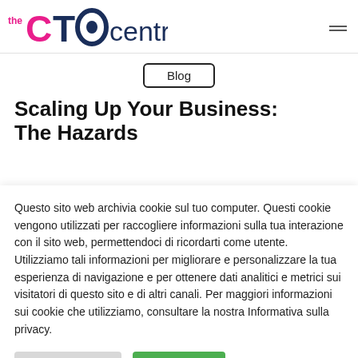[Figure (logo): The CTO Centre logo with pink and navy blue text]
Blog
Scaling Up Your Business: The Hazards
Questo sito web archivia cookie sul tuo computer. Questi cookie vengono utilizzati per raccogliere informazioni sulla tua interazione con il sito web, permettendoci di ricordarti come utente. Utilizziamo tali informazioni per migliorare e personalizzare la tua esperienza di navigazione e per ottenere dati analitici e metrici sui visitatori di questo sito e di altri canali. Per maggiori informazioni sui cookie che utilizziamo, consultare la nostra Informativa sulla privacy.
Cookie Settings
Accept All